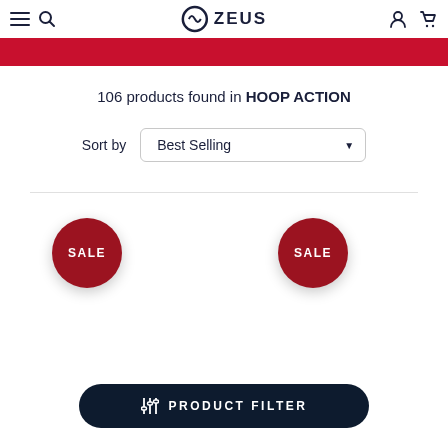ZEUS — navigation header with hamburger, search, logo, account, cart icons
[Figure (other): Red promotional banner strip below navigation]
106 products found in HOOP ACTION
Sort by  Best Selling
[Figure (other): SALE badge circle, dark red, left product]
[Figure (other): SALE badge circle, dark red, right product]
PRODUCT FILTER